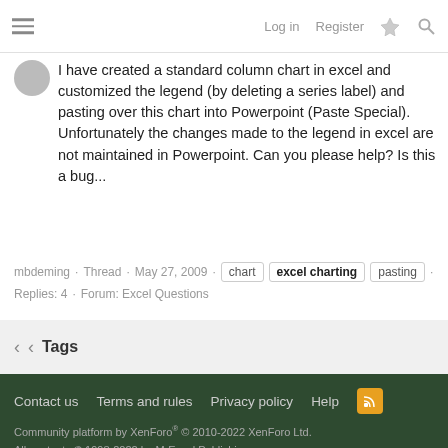Log in · Register
I have created a standard column chart in excel and customized the legend (by deleting a series label) and pasting over this chart into Powerpoint (Paste Special). Unfortunately the changes made to the legend in excel are not maintained in Powerpoint. Can you please help? Is this a bug...
mbdeming · Thread · May 27, 2009 · chart · excel charting · pasting · Replies: 4 · Forum: Excel Questions
Tags
Contact us · Terms and rules · Privacy policy · Help
Community platform by XenForo® © 2010-2022 XenForo Ltd.
All contents © 1998-2022 by MrExcel Publishing.